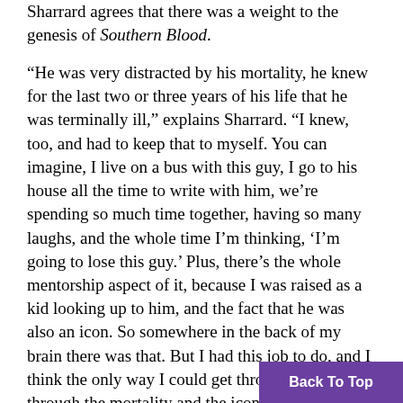Sharrard agrees that there was a weight to the genesis of Southern Blood.
“He was very distracted by his mortality, he knew for the last two or three years of his life that he was terminally ill,” explains Sharrard. “I knew, too, and had to keep that to myself. You can imagine, I live on a bus with this guy, I go to his house all the time to write with him, we’re spending so much time together, having so many laughs, and the whole time I’m thinking, ‘I’m going to lose this guy.’ Plus, there’s the whole mentorship aspect of it, because I was raised as a kid looking up to him, and the fact that he was also an icon. So somewhere in the back of my brain there was that. But I had this job to do, and I think the only way I could get through my way through the mortality and the iconography of this person was to deal with it as a job. That was the only way because otherwise my emotions would have